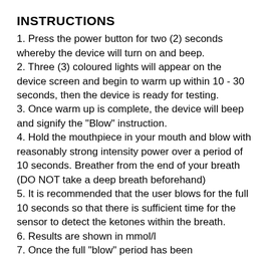INSTRUCTIONS
1. Press the power button for two (2) seconds whereby the device will turn on and beep.
2. Three (3) coloured lights will appear on the device screen and begin to warm up within 10 - 30 seconds, then the device is ready for testing.
3. Once warm up is complete, the device will beep and signify the "Blow" instruction.
4. Hold the mouthpiece in your mouth and blow with reasonably strong intensity power over a period of 10 seconds. Breather from the end of your breath (DO NOT take a deep breath beforehand)
5. It is recommended that the user blows for the full 10 seconds so that there is sufficient time for the sensor to detect the ketones within the breath.
6. Results are shown in mmol/l
7. Once the full "blow" period has been